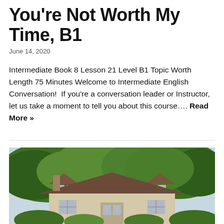You're Not Worth My Time, B1
June 14, 2020
Intermediate Book 8 Lesson 21 Level B1 Topic Worth Length 75 Minutes Welcome to Intermediate English Conversation!  If you're a conversation leader or Instructor, let us take a moment to tell you about this course…. Read More »
[Figure (photo): A stone cottage house with dormer windows and a brown roof, surrounded by green trees and foliage.]